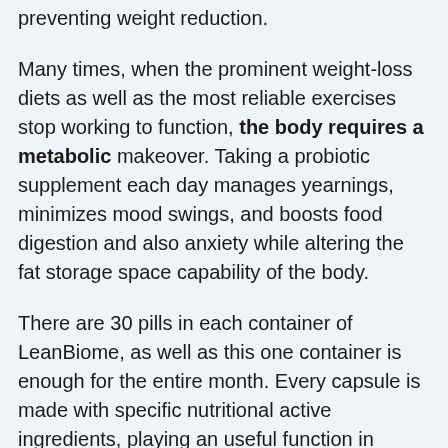preventing weight reduction.
Many times, when the prominent weight-loss diets as well as the most reliable exercises stop working to function, the body requires a metabolic makeover. Taking a probiotic supplement each day manages yearnings, minimizes mood swings, and boosts food digestion and also anxiety while altering the fat storage space capability of the body.
There are 30 pills in each container of LeanBiome, as well as this one container is enough for the entire month. Every capsule is made with specific nutritional active ingredients, playing an useful function in weight loss. It may function without diet and also exercise, but the faster outcomes are